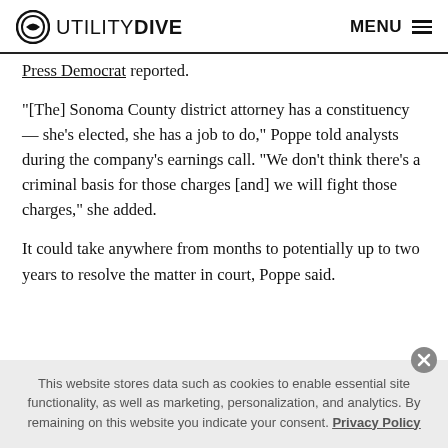UTILITY DIVE  MENU
Press Democrat reported.
"[The] Sonoma County district attorney has a constituency — she’s elected, she has a job to do,” Poppe told analysts during the company’s earnings call. “We don’t think there’s a criminal basis for those charges [and] we will fight those charges,” she added.
It could take anywhere from months to potentially up to two years to resolve the matter in court, Poppe said.
This website stores data such as cookies to enable essential site functionality, as well as marketing, personalization, and analytics. By remaining on this website you indicate your consent. Privacy Policy